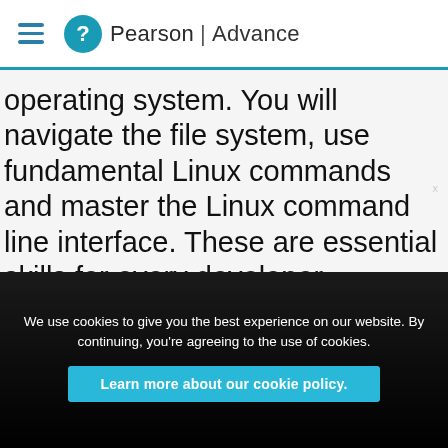Pearson | Advance
operating system. You will navigate the file system, use fundamental Linux commands and master the Linux command line interface. These are essential skills for every developer.
You will also be able to produce software written in C using the industry-standard tools on Linux.
We use cookies to give you the best experience on our website. By continuing, you're agreeing to the use of cookies.
Learn more about our cookie policy.